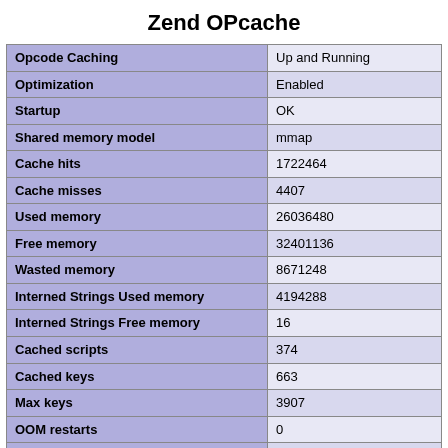Zend OPcache
|  |  |
| --- | --- |
| Opcode Caching | Up and Running |
| Optimization | Enabled |
| Startup | OK |
| Shared memory model | mmap |
| Cache hits | 1722464 |
| Cache misses | 4407 |
| Used memory | 26036480 |
| Free memory | 32401136 |
| Wasted memory | 8671248 |
| Interned Strings Used memory | 4194288 |
| Interned Strings Free memory | 16 |
| Cached scripts | 374 |
| Cached keys | 663 |
| Max keys | 3907 |
| OOM restarts | 0 |
| Hash keys restarts | 0 |
| Manual restarts | 0 |
Directives